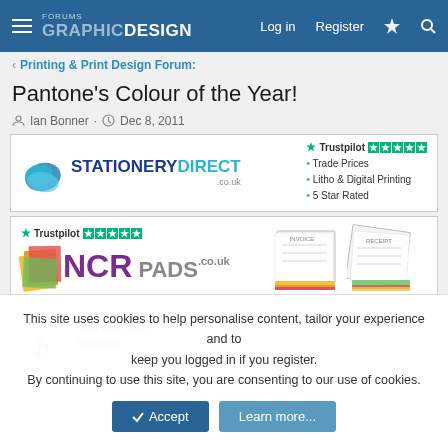GRAPHIC DESIGN Forums — Log in | Register
< Printing & Print Design Forum:
Pantone's Colour of the Year!
Ian Bonner · Dec 8, 2011
[Figure (advertisement): Stationery Direct banner ad with Trustpilot 5-star rating, logo with leaf icon, and bullet points: Trade Prices, Litho & Digital Printing, 5 Star Rated]
[Figure (advertisement): NCR Pads banner ad with Trustpilot 5-star rating, colorful logo, and illustrated NCR pad images]
Ian Bonner
Member
This site uses cookies to help personalise content, tailor your experience and to keep you logged in if you register.
By continuing to use this site, you are consenting to our use of cookies.
Accept | Learn more...